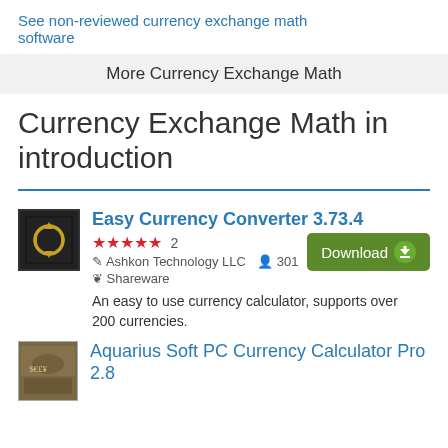See non-reviewed currency exchange math software
More Currency Exchange Math
Currency Exchange Math in introduction
Easy Currency Converter 3.73.4
★★★★★ 2  Ashkon Technology LLC  301  Shareware
An easy to use currency calculator, supports over 200 currencies.
Aquarius Soft PC Currency Calculator Pro 2.8